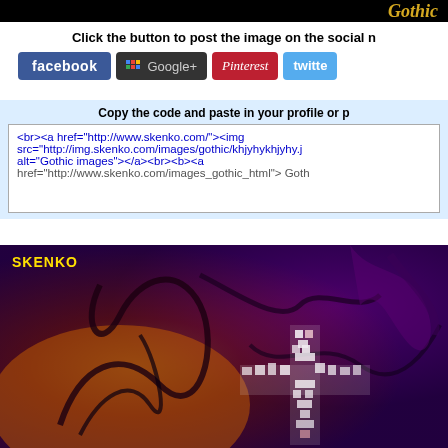[Figure (screenshot): Black banner with golden italic text (partially visible, appears to say 'Gothic' or similar script text)]
Click the button to post the image on the social n
[Figure (screenshot): Social media sharing buttons: Facebook (blue), Google+ (dark with colored dots), Pinterest (red/italic), Twitter (light blue)]
Copy the code and paste in your profile or p
<br><a href="http://www.skenko.com/"><img src="http://img.skenko.com/images/gothic/khjyhykhjyhy.j alt="Gothic images"></a><br><b><a href="http://www.skenko.com/images/gothic.html"> Goth
[Figure (photo): Gothic artwork image with SKENKO watermark, featuring dark swirling abstract art with red, orange, purple tones and a glowing white cross shape in the center]